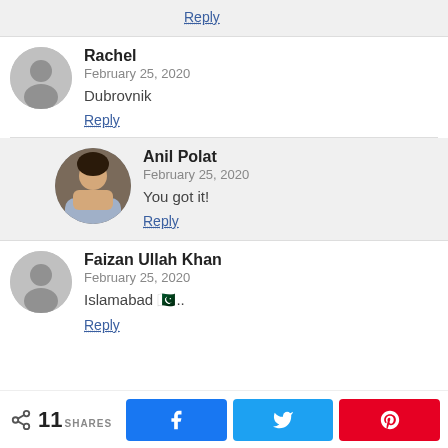Reply
Rachel
February 25, 2020
Dubrovnik
Reply
Anil Polat
February 25, 2020
You got it!
Reply
Faizan Ullah Khan
February 25, 2020
Islamabad 🇵🇰..
Reply
11 SHARES